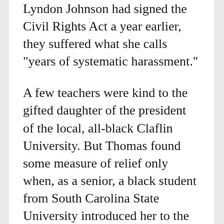Lyndon Johnson had signed the Civil Rights Act a year earlier, they suffered what she calls “years of systematic harassment.”
A few teachers were kind to the gifted daughter of the president of the local, all-black Claflin University. But Thomas found some measure of relief only when, as a senior, a black student from South Carolina State University introduced her to the Baha’i faith. Although her father was an ordained Methodist minister, Thomas